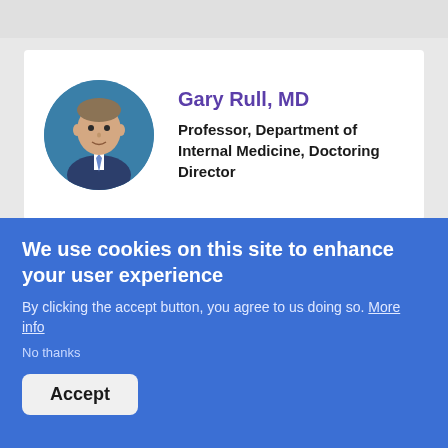[Figure (photo): Circular headshot photo of Gary Rull, MD, a man in a suit with a tie against a teal background]
Gary Rull, MD
Professor, Department of Internal Medicine, Doctoring Director
[Figure (photo): Circular headshot photo of Andrew Varney, MD, a man with glasses against a teal background]
Andrew Varney, MD
Professor, Department of Internal Medicine, Residency Program Director
We use cookies on this site to enhance your user experience
By clicking the accept button, you agree to us doing so. More info
No thanks
Accept